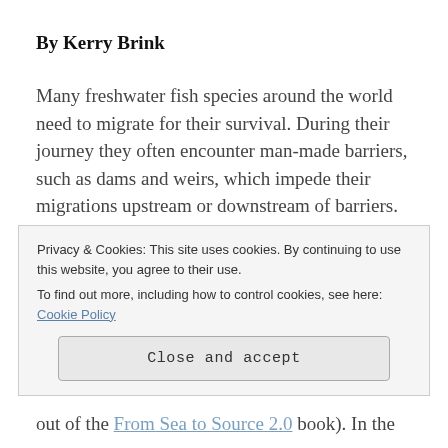By Kerry Brink
Many freshwater fish species around the world need to migrate for their survival. During their journey they often encounter man-made barriers, such as dams and weirs, which impede their migrations upstream or downstream of barriers. A well known solution to this problem, is the construction of a fishway that allows fish to pass a physical obstacle. From as early as the 18th century, fishways have been implemented. Over the decennia
Privacy & Cookies: This site uses cookies. By continuing to use this website, you agree to their use.
To find out more, including how to control cookies, see here: Cookie Policy
Close and accept
out of the From Sea to Source 2.0 book). In the